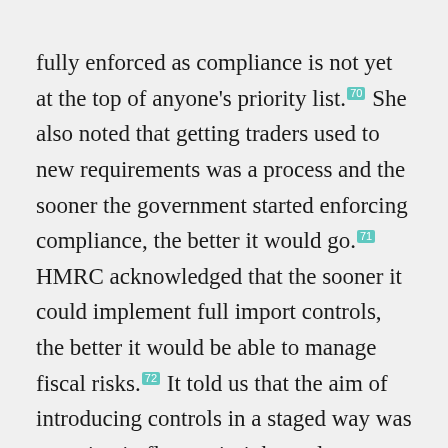fully enforced as compliance is not yet at the top of anyone's priority list.[70] She also noted that getting traders used to new requirements was a process and the sooner the government started enforcing compliance, the better it would go.[71] HMRC acknowledged that the sooner it could implement full import controls, the better it would be able to manage fiscal risks.[72] It told us that the aim of introducing controls in a staged way was to maintain flow as it tightened up control and management of fiscal risk and that it was confident that it could move to the next stage of implementing full controls without disrupting flow.[73] It also said that controls at ports were strict in terms of lorries getting access to ferries and that